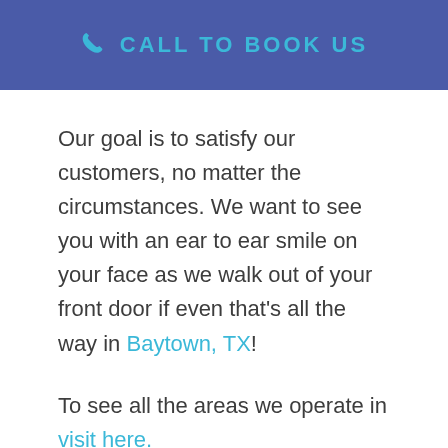CALL TO BOOK US
Our goal is to satisfy our customers, no matter the circumstances. We want to see you with an ear to ear smile on your face as we walk out of your front door if even that’s all the way in Baytown, TX!
To see all the areas we operate in visit here.